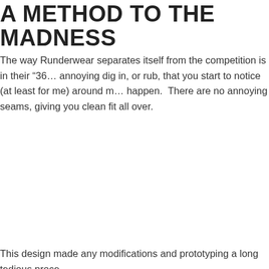A METHOD TO THE MADNESS
The way Runderwear separates itself from the competition is in their “36… annoying dig in, or rub, that you start to notice (at least for me) around m… happen.  There are no annoying seams, giving you clean fit all over.
This design made any modifications and prototyping a long tedious proce…